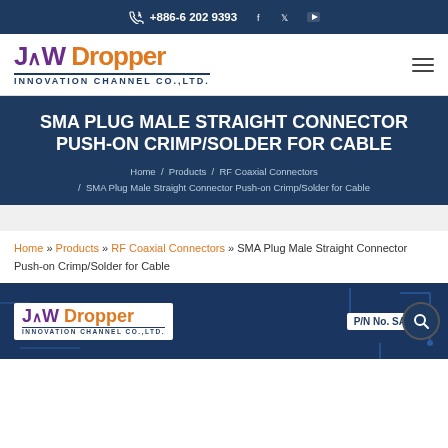+886-6 202 9393
[Figure (logo): JAW Dropper Innovation Channel Co.,Ltd. logo with purple JAW and orange Dropper text]
SMA PLUG MALE STRAIGHT CONNECTOR PUSH-ON CRIMP/SOLDER FOR CABLE
Home / Products / RF Coaxial Connectors / SMA Plug Male Straight Connector Push-on Crimp/Solder for Cable
Home » Products » RF Coaxial Connectors » SMA Plug Male Straight Connector Push-on Crimp/Solder for Cable
[Figure (screenshot): Product image area showing JAW Dropper logo on dark blue background with P/N No. SAP-01 label and search icon]